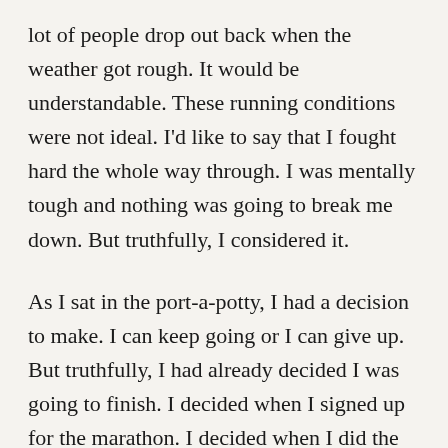lot of people drop out back when the weather got rough. It would be understandable. These running conditions were not ideal. I'd like to say that I fought hard the whole way through. I was mentally tough and nothing was going to break me down. But truthfully, I considered it.
As I sat in the port-a-potty, I had a decision to make. I can keep going or I can give up. But truthfully, I had already decided I was going to finish. I decided when I signed up for the marathon. I decided when I did the training. I decided when I pre-purchased the 26.2 sticker for my car!
I came out of the bathroom and kept going. I was